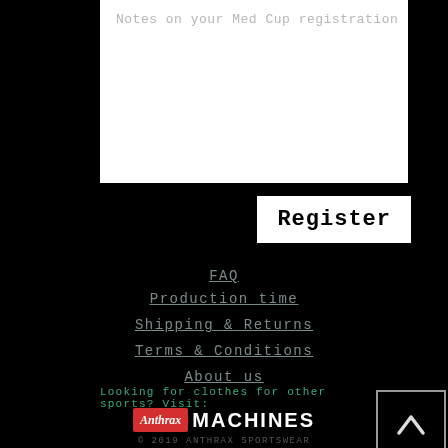[Figure (screenshot): White textarea input box with placeholder text 'Notes on your Med Cup registration' in gray, on black background]
Register
FAQ
Production time
Shipping & Returns
Terms & Conditions
About us
[Figure (other): Back to top button - dark square with chevron/caret arrow pointing upward]
Looking for clothes for other sports? Visit:
[Figure (logo): Anthrax sportswear logo: red box with 'Anthrax' in white italic script, followed by 'MACHINES' in large white bold sans-serif]
© 2019 ANTHRAX SPORTSWEAR